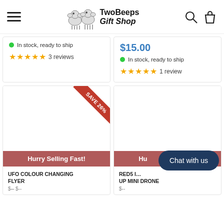TwoBeeps Gift Shop — navigation header with hamburger menu, logo, search and cart icons
In stock, ready to ship — 3 reviews (left card, partial)
$15.00 — In stock, ready to ship — 1 review (right card, partial)
[Figure (screenshot): Product card with SAVE 26% ribbon and Hurry Selling Fast! banner for UFO COLOUR CHANGING FLYER]
[Figure (screenshot): Product card with Hurry Selling Fast! banner and Chat with us button overlay for RED5 I... UP MINI DRONE]